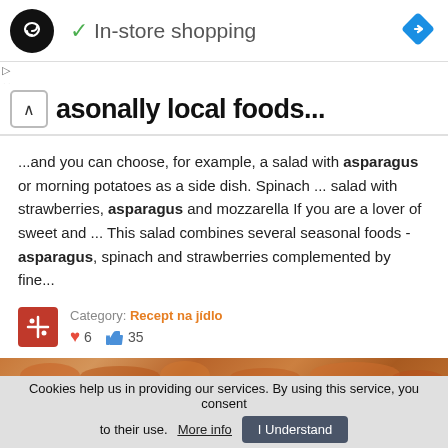[Figure (logo): Black circle logo with infinity/loop symbol in white, green checkmark followed by 'In-store shopping' text, and blue diamond navigation icon on the right]
asonally local foods...
...and you can choose, for example, a salad with asparagus or morning potatoes as a side dish. Spinach ... salad with strawberries, asparagus and mozzarella If you are a lover of sweet and ... This salad combines several seasonal foods - asparagus, spinach and strawberries complemented by fine...
Category: Recept na jídlo  ♥ 6  👍 35
[Figure (photo): Pizza image strip at bottom of content area]
Cookies help us in providing our services. By using this service, you consent to their use. More info  I Understand